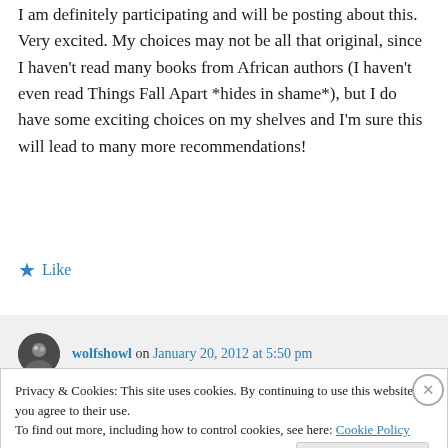I am definitely participating and will be posting about this. Very excited. My choices may not be all that original, since I haven't read many books from African authors (I haven't even read Things Fall Apart *hides in shame*), but I do have some exciting choices on my shelves and I'm sure this will lead to many more recommendations!
★ Like
wolfshowl on January 20, 2012 at 5:50 pm
Privacy & Cookies: This site uses cookies. By continuing to use this website, you agree to their use.
To find out more, including how to control cookies, see here: Cookie Policy